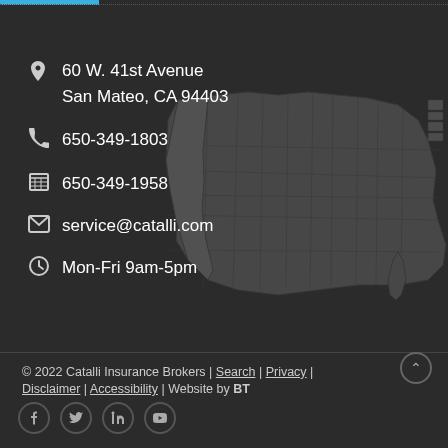60 W. 41st Avenue
San Mateo, CA 94403
650-349-1803
650-349-1958
service@catalli.com
Mon-Fri 9am-5pm
[Figure (map): Greyed-out outline map of the United States with state borders visible, used as a background decoration]
© 2022 Catalli Insurance Brokers | Search | Privacy | Disclaimer | Accessibility | Website by BT